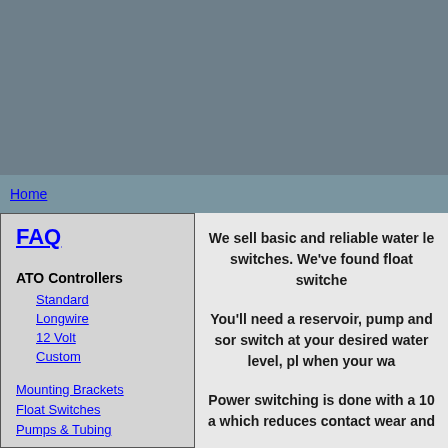[Figure (photo): Gray header banner area at the top of the webpage]
Home
FAQ
ATO Controllers
Standard
Longwire
12 Volt
Custom
Mounting Brackets
Float Switches
Pumps & Tubing
We sell basic and reliable water le switches. We've found float switche
You'll need a reservoir, pump and sor switch at your desired water level, pl when your wa
Power switching is done with a 10 a which reduces contact wear and